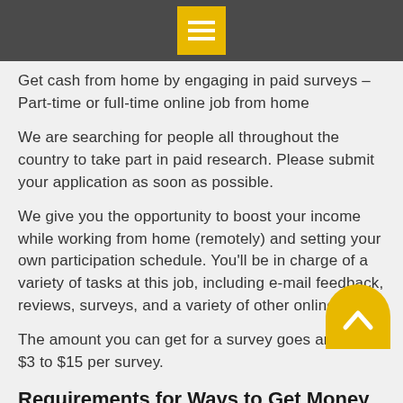Menu icon header bar
Get cash from home by engaging in paid surveys – Part-time or full-time online job from home
We are searching for people all throughout the country to take part in paid research. Please submit your application as soon as possible.
We give you the opportunity to boost your income while working from home (remotely) and setting your own participation schedule. You'll be in charge of a variety of tasks at this job, including e-mail feedback, reviews, surveys, and a variety of other online tasks.
The amount you can get for a survey goes around $3 to $15 per survey.
Requirements for Ways to Get Money in